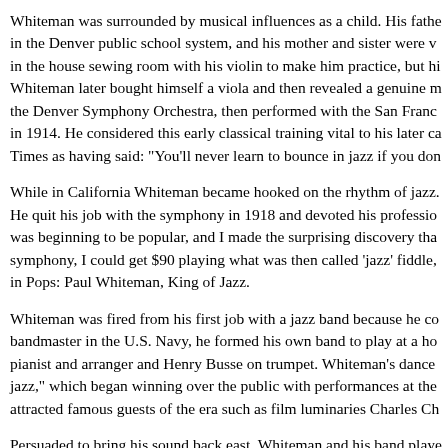Whiteman was surrounded by musical influences as a child. His father worked in the Denver public school system, and his mother and sister were vocalists. He was locked in the house sewing room with his violin to make him practice, but he hated the instrument. Whiteman later bought himself a viola and then revealed a genuine musical talent. He played in the Denver Symphony Orchestra, then performed with the San Francisco Symphony Orchestra in 1914. He considered this early classical training vital to his later career and was quoted in the New York Times as having said: "You'll never learn to bounce in jazz if you don't know the fundamentals."
While in California Whiteman became hooked on the rhythm of jazz while playing at roadhouses. He quit his job with the symphony in 1918 and devoted his professional life to jazz. "Jazz music was beginning to be popular, and I made the surprising discovery that while I got $47 a week in the symphony, I could get $90 playing what was then called 'jazz' fiddle," according to a quote in Pops: Paul Whiteman, King of Jazz.
Whiteman was fired from his first job with a jazz band because he couldn't improvise. After serving as bandmaster in the U.S. Navy, he formed his own band to play at a hotel in San Francisco, with Ferde Grofé as pianist and arranger and Henry Busse on trumpet. Whiteman's dance band played what he termed "symphonic jazz," which began winning over the public with performances at the Alexandria Hotel in Los Angeles, which attracted famous guests of the era such as film luminaries Charles Ch
Persuaded to bring his sound back east, Whiteman and his band played the Ambassador Hotel in Atlantic City in 1920. He became a smash hit at the hotel and also attracted a Victor Talking Machine Company executive (the company was later known as RCA Victor), who liked what he heard. The executive signed Whiteman to a recording contract that resulted in a string of hit records. In 1920, Whiteman moved to New York City and began a long engagement at the Palais Royal nightclub. His band debuted at the Palace Theatre, a famed vaudeville showcase.